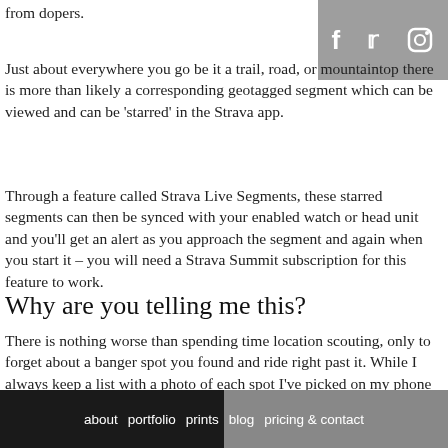from dopers.
[Figure (other): Social media icons bar showing Facebook, Twitter, and Instagram icons on a grey background]
Just about everywhere you go be it a trail, road, or mountaintop there is more than likely a corresponding geotagged segment which can be viewed and can be ‘starred’ in the Strava app.
Through a feature called Strava Live Segments, these starred segments can then be synced with your enabled watch or head unit and you’ll get an alert as you approach the segment and again when you start it – you will need a Strava Summit subscription for this feature to work.
Why are you telling me this?
There is nothing worse than spending time location scouting, only to forget about a banger spot you found and ride right past it. While I always keep a list with a photo of each spot I’ve picked on my phone sometimes you’ll miss one, and not remember it until you get to the trailhead.
about   portfolio   prints   blog   pricing & contact